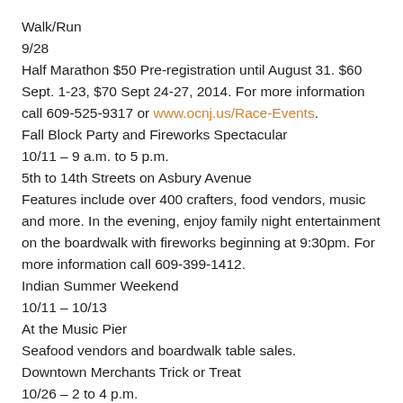Walk/Run
9/28
Half Marathon $50 Pre-registration until August 31. $60 Sept. 1-23, $70 Sept 24-27, 2014. For more information call 609-525-9317 or www.ocnj.us/Race-Events.
Fall Block Party and Fireworks Spectacular
10/11 – 9 a.m. to 5 p.m.
5th to 14th Streets on Asbury Avenue
Features include over 400 crafters, food vendors, music and more. In the evening, enjoy family night entertainment on the boardwalk with fireworks beginning at 9:30pm. For more information call 609-399-1412.
Indian Summer Weekend
10/11 – 10/13
At the Music Pier
Seafood vendors and boardwalk table sales.
Downtown Merchants Trick or Treat
10/26 – 2 to 4 p.m.
6th – 11th Street